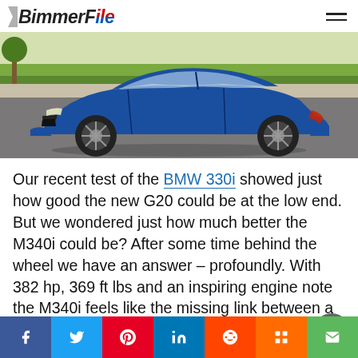BimmerFile
[Figure (photo): Side profile of a blue BMW M340i G20 parked on a suburban street with green grass and trees in the background.]
Our recent test of the BMW 330i showed just how good the new G20 could be at the low end. But we wondered just how much better the M340i could be? After some time behind the wheel we have an answer – profoundly. With 382 hp, 369 ft lbs and an inspiring engine note the M340i feels like the missing link between a well specced 3 Series and an all out M3
[Figure (infographic): Social sharing bar with buttons for Facebook, Twitter, Pinterest, LinkedIn, Reddit, Mix, and Email]